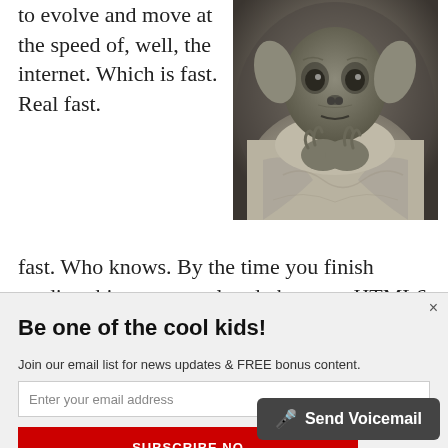to evolve and move at the speed of, well, the internet. Which is fast. Real fast. Who knows. By the time you finish reading this, we may already be on to HTML6 which will most likely support some sort of 3D viewing experience. You just
[Figure (photo): A creature (Yoda-like) in tattered robes, hands clasped together]
Be one of the cool kids!
Join our email list for news updates & FREE bonus content.
Enter your email address
SUBSCRIBE NO
Send Voicemail